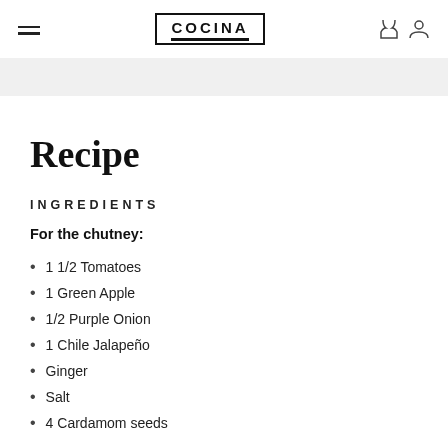COCINA
Recipe
INGREDIENTS
For the chutney:
1 1/2 Tomatoes
1 Green Apple
1/2 Purple Onion
1 Chile Jalapeño
Ginger
Salt
4 Cardamom seeds